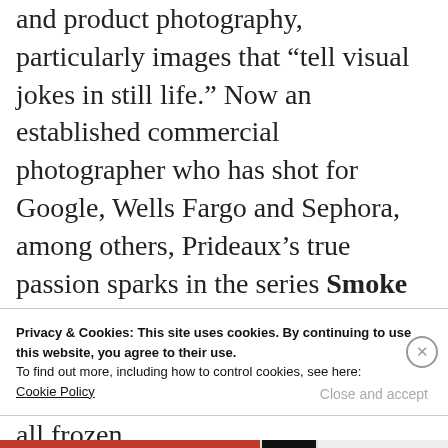and product photography, particularly images that “tell visual jokes in still life.” Now an established commercial photographer who has shot for Google, Wells Fargo and Sephora, among others, Prideaux’s true passion sparks in the series Smoke & Fire, a growing collection of striking images of kaleidoscopic smoke and blooming bursts of fire, all frozen
Privacy & Cookies: This site uses cookies. By continuing to use this website, you agree to their use. To find out more, including how to control cookies, see here: Cookie Policy
Close and accept